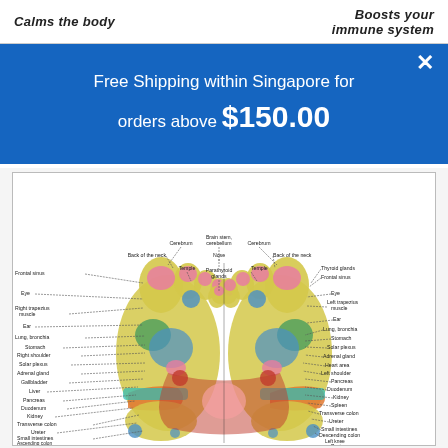Calms the body | Boosts your immune system
Free Shipping within Singapore for orders above $150.00
[Figure (illustration): Foot reflexology diagram showing the soles of two feet (left and right) mapped to body organs and systems. Labels include: Brain stem/cerebellum, Cerebrum (both sides), Back of the neck, Nose, Thyroid glands, Frontal sinus, Temple, Parathyroid glands, Eye, Left/Right trapezius muscle, Ear, Lung/bronchia, Stomach, Solar plexus, Adrenal gland, Heart area, Right/Left shoulder, Pancreas, Gallbladder, Duodenum, Liver, Kidney, Spleen, Transverse colon, Ureter, Small intestines, Descending colon, Ascending colon, Left knee, Appendix, Rectum, Right knee, Anus. The feet are shown with colored zones mapped to these organs.]